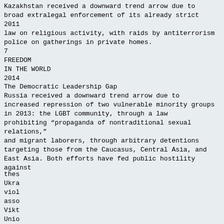Kazakhstan received a downward trend arrow due to broad extralegal enforcement of its already strict 2011 law on religious activity, with raids by antiterrorism police on gatherings in private homes.
7
FREEDOM IN THE WORLD 2014
The Democratic Leadership Gap
Russia received a downward trend arrow due to increased repression of two vulnerable minority groups in 2013: the LGBT community, through a law prohibiting “propaganda of nontraditional sexual relations,” and migrant laborers, through arbitrary detentions targeting those from the Caucasus, Central Asia, and East Asia. Both efforts have fed public hostility against these... Ukraine... violations... associated... Viktor... Union... package... public... large... EURASIA... EURASIA: STATUS BY POPULATION 62,800,000
[Figure (screenshot): Cookie consent overlay banner with blue background. Text reads: 'This website uses cookies to ensure you get the best experience on our website. Learn more'. Two buttons: 'Decline' (white text) and 'Allow cookies' (blue text on white background).]